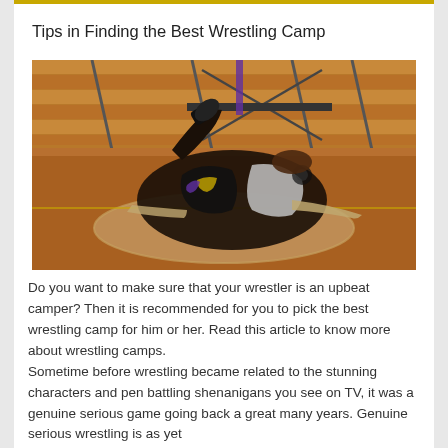Tips in Finding the Best Wrestling Camp
[Figure (photo): Two wrestlers grappling on a gymnasium mat, one wrestler is being taken down. Indoor gym with wooden bleachers in background.]
Do you want to make sure that your wrestler is an upbeat camper? Then it is recommended for you to pick the best wrestling camp for him or her. Read this article to know more about wrestling camps.
Sometime before wrestling became related to the stunning characters and pen battling shenanigans you see on TV, it was a genuine serious game going back a great many years. Genuine serious wrestling is as yet